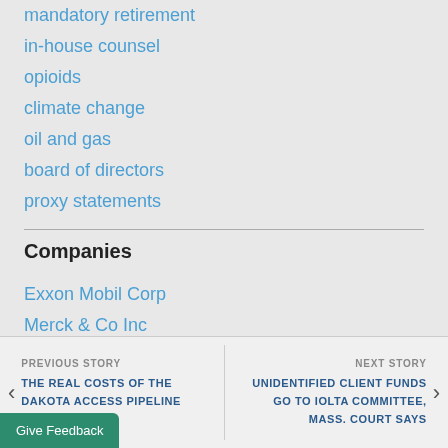mandatory retirement
in-house counsel
opioids
climate change
oil and gas
board of directors
proxy statements
Companies
Exxon Mobil Corp
Merck & Co Inc
MetLife Inc
Cardinal Health Inc
PREVIOUS STORY | THE REAL COSTS OF THE DAKOTA ACCESS PIPELINE SHUTDOWN | NEXT STORY | UNIDENTIFIED CLIENT FUNDS GO TO IOLTA COMMITTEE, MASS. COURT SAYS